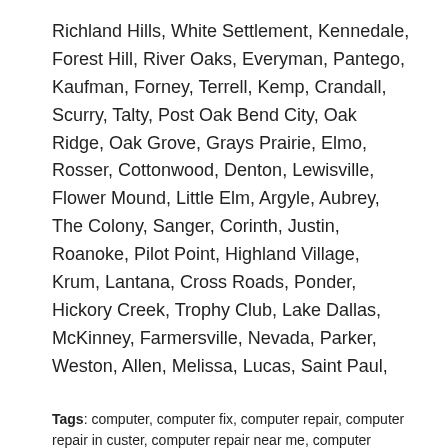Richland Hills, White Settlement, Kennedale, Forest Hill, River Oaks, Everyman, Pantego, Kaufman, Forney, Terrell, Kemp, Crandall, Scurry, Talty, Post Oak Bend City, Oak Ridge, Oak Grove, Grays Prairie, Elmo, Rosser, Cottonwood, Denton, Lewisville, Flower Mound, Little Elm, Argyle, Aubrey, The Colony, Sanger, Corinth, Justin, Roanoke, Pilot Point, Highland Village, Krum, Lantana, Cross Roads, Ponder, Hickory Creek, Trophy Club, Lake Dallas, McKinney, Farmersville, Nevada, Parker, Weston, Allen, Melissa, Lucas, Saint Paul,
Tags: computer, computer fix, computer repair, computer repair in custer, computer repair near me, computer repair parker, computer repair plano, computer service, Dallas, desktop repair, laptop,